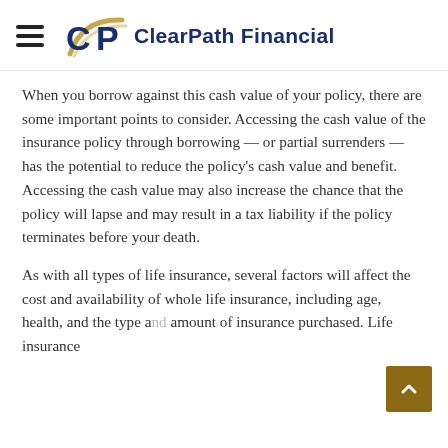ClearPath Financial
When you borrow against this cash value of your policy, there are some important points to consider. Accessing the cash value of the insurance policy through borrowing — or partial surrenders — has the potential to reduce the policy's cash value and benefit. Accessing the cash value may also increase the chance that the policy will lapse and may result in a tax liability if the policy terminates before your death.
As with all types of life insurance, several factors will affect the cost and availability of whole life insurance, including age, health, and the type and amount of insurance purchased. Life insurance